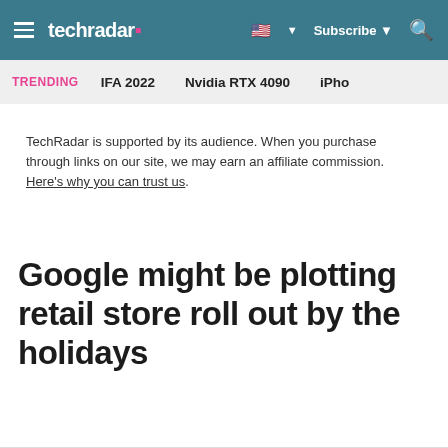techradar | Subscribe | Search
TRENDING   IFA 2022   Nvidia RTX 4090   iPhone
TechRadar is supported by its audience. When you purchase through links on our site, we may earn an affiliate commission. Here's why you can trust us.
Google might be plotting retail store roll out by the holidays